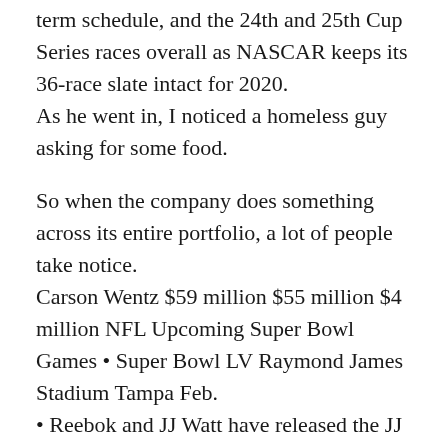term schedule, and the 24th and 25th Cup Series races overall as NASCAR keeps its 36-race slate intact for 2020.
As he went in, I noticed a homeless guy asking for some food.
So when the company does something across its entire portfolio, a lot of people take notice.
Carson Wentz $59 million $55 million $4 million NFL Upcoming Super Bowl Games • Super Bowl LV Raymond James Stadium Tampa Feb.
• Reebok and JJ Watt have released the JJ IV training shoe collection, which includes the franchise's first woman's-specific shoe.
Cristian Roldan 25.
Nicolas Lodeiro 16.
The Season Ticket Member of record is responsible